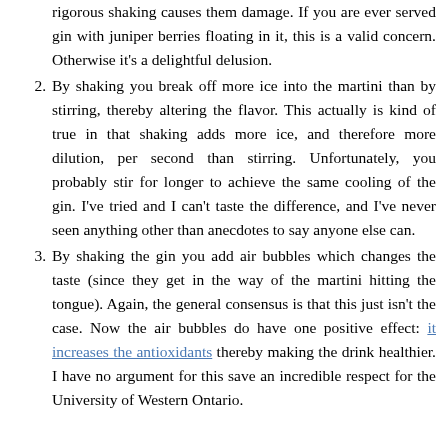(continuation) rigorous shaking causes them damage. If you are ever served gin with juniper berries floating in it, this is a valid concern. Otherwise it's a delightful delusion.
2. By shaking you break off more ice into the martini than by stirring, thereby altering the flavor. This actually is kind of true in that shaking adds more ice, and therefore more dilution, per second than stirring. Unfortunately, you probably stir for longer to achieve the same cooling of the gin. I've tried and I can't taste the difference, and I've never seen anything other than anecdotes to say anyone else can.
3. By shaking the gin you add air bubbles which changes the taste (since they get in the way of the martini hitting the tongue). Again, the general consensus is that this just isn't the case. Now the air bubbles do have one positive effect: it increases the antioxidants thereby making the drink healthier. I have no argument for this save an incredible respect for the University of Western Ontario.